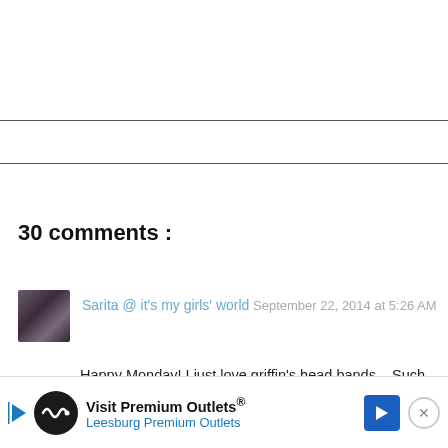30 comments :
Sarita @ it's my girls' world  September 22, 2014 at 5:26 AM
Happy Monday! I just love  griffin's head bands... Such a stylin' baby
Reply
[Figure (infographic): Advertisement banner: Visit Premium Outlets® / Leesburg Premium Outlets with logo and navigation arrow icon]